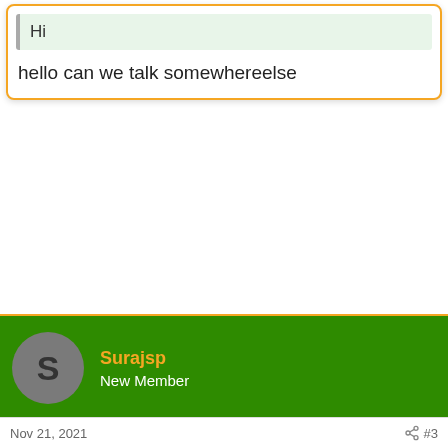Hi
hello can we talk somewhereelse
Surajsp
New Member
Nov 21, 2021   #3